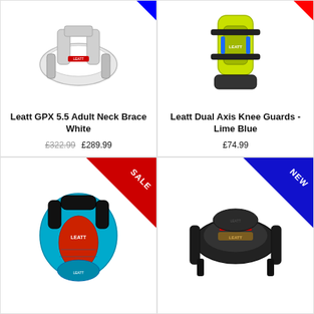[Figure (photo): Leatt GPX 5.5 Adult Neck Brace White product photo, partially cropped at top]
Leatt GPX 5.5 Adult Neck Brace White
£322.99 £289.99
[Figure (photo): Leatt Dual Axis Knee Guards - Lime Blue product photo, partially cropped at top]
Leatt Dual Axis Knee Guards - Lime Blue
£74.99
[Figure (photo): Chest protector body armor in blue/teal and red/black with SALE badge triangle]
[Figure (photo): Leatt black neck brace product photo with NEW badge triangle in blue]